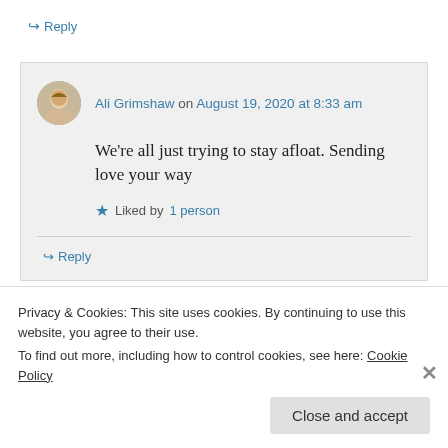↪ Reply
Ali Grimshaw on August 19, 2020 at 8:33 am
We're all just trying to stay afloat. Sending love your way
★ Liked by 1 person
↪ Reply
Privacy & Cookies: This site uses cookies. By continuing to use this website, you agree to their use.
To find out more, including how to control cookies, see here: Cookie Policy
Close and accept